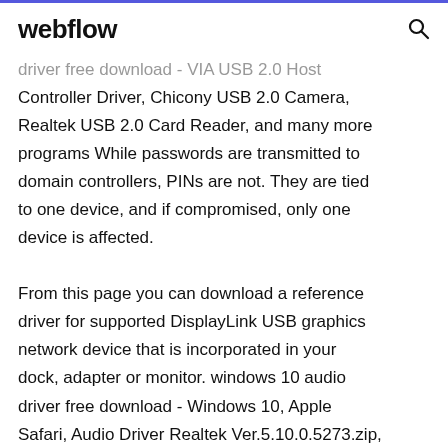webflow
driver free download - VIA USB 2.0 Host Controller Driver, Chicony USB 2.0 Camera, Realtek USB 2.0 Card Reader, and many more programs While passwords are transmitted to domain controllers, PINs are not. They are tied to one device, and if compromised, only one device is affected.
From this page you can download a reference driver for supported DisplayLink USB graphics network device that is incorporated in your dock, adapter or monitor. windows 10 audio driver free download - Windows 10, Apple Safari, Audio Driver Realtek Ver.5.10.0.5273.zip, and many more programs Full support for VIA